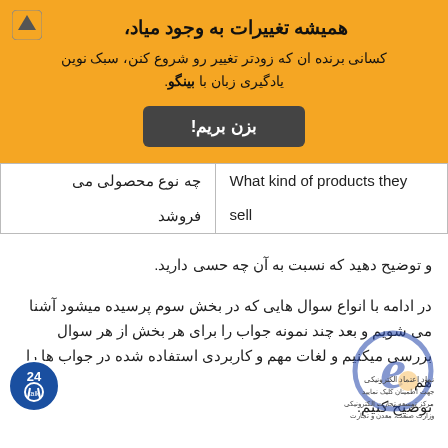همیشه تغییرات به وجود میاد،
کسانی برنده ان که زودتر تغییر رو شروع کنن، سبک نوین یادگیری زبان با بینگو.
بزن بریم!
| What kind of products they sell | چه نوع محصولی می فروشد |
| --- | --- |
و توضیح دهید که نسبت به آن چه حسی دارید.
در ادامه با انواع سوال هایی که در بخش سوم پرسیده میشود آشنا می شویم و بعد چند نمونه جواب را برای هر بخش از هر سوال بررسی میکنیم و لغات مهم و کاربردی استفاده شده در جواب ها را هم توضیح کنیم.